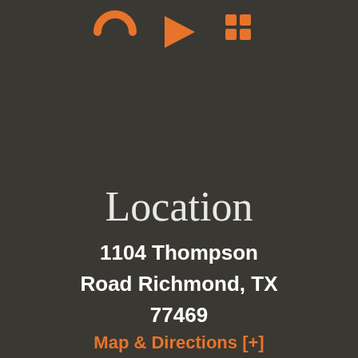[Figure (illustration): Three orange social media / app icons at the top of the page on a dark background]
Location
1104 Thompson Road Richmond, TX 77469
Map & Directions [+]